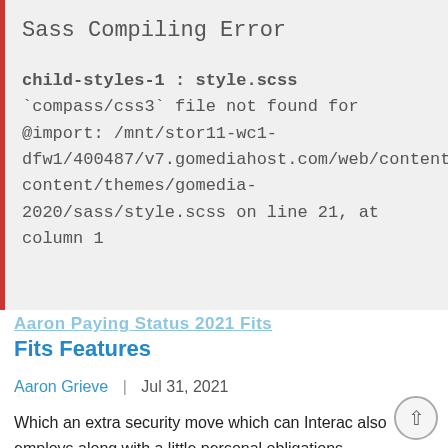Sass Compiling Error
child-styles-1 : style.scss
`compass/css3` file not found for @import: /mnt/stor11-wc1-dfw1/400487/v7.gomediahost.com/web/content/wp-content/themes/gomedia-2020/sass/style.scss on line 21, at column 1
Fits Features
Aaron Grieve  |  Jul 31, 2021
Which an extra security move which can Interac also employs along with a little personal obligations